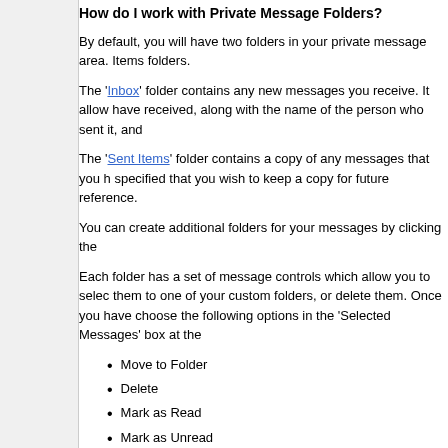How do I work with Private Message Folders?
By default, you will have two folders in your private message area. Items folders.
The 'Inbox' folder contains any new messages you receive. It allows you to see each message you have received, along with the name of the person who sent it, and
The 'Sent Items' folder contains a copy of any messages that you have sent, where you specified that you wish to keep a copy for future reference.
You can create additional folders for your messages by clicking the
Each folder has a set of message controls which allow you to select messages and move them to one of your custom folders, or delete them. Once you have selected some messages, choose the following options in the 'Selected Messages' box at the
Move to Folder
Delete
Mark as Read
Mark as Unread
Download as XML
Download as CSV
Download as TEXT
You will need to periodically delete old messages, as the administrator has set a maximum number of private messages you can have in your folders. If you exceed this number you will not be able to send or receive new messages until you delete some old o
If you would like to keep a record of your messages before you de